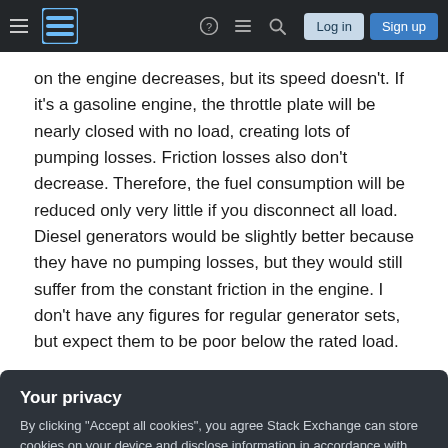Stack Exchange navigation bar with hamburger menu, logo, help, chat, search, Log in, Sign up
on the engine decreases, but its speed doesn't. If it's a gasoline engine, the throttle plate will be nearly closed with no load, creating lots of pumping losses. Friction losses also don't decrease. Therefore, the fuel consumption will be reduced only very little if you disconnect all load. Diesel generators would be slightly better because they have no pumping losses, but they would still suffer from the constant friction in the engine. I don't have any figures for regular generator sets, but expect them to be poor below the rated load.
Your privacy
By clicking "Accept all cookies", you agree Stack Exchange can store cookies on your device and disclose information in accordance with our Cookie Policy.
Accept all cookies  Customize settings
with three levels: positive, zero, negative.